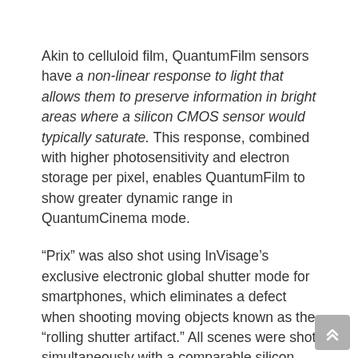Akin to celluloid film, QuantumFilm sensors have a non-linear response to light that allows them to preserve information in bright areas where a silicon CMOS sensor would typically saturate. This response, combined with higher photosensitivity and electron storage per pixel, enables QuantumFilm to show greater dynamic range in QuantumCinema mode.
“Prix” was also shot using InVisage’s exclusive electronic global shutter mode for smartphones, which eliminates a defect when shooting moving objects known as the “rolling shutter artifact.” All scenes were shot simultaneously with a comparable silicon smartphone using a rolling shutter–the only shutter mode currently available in smartphones–